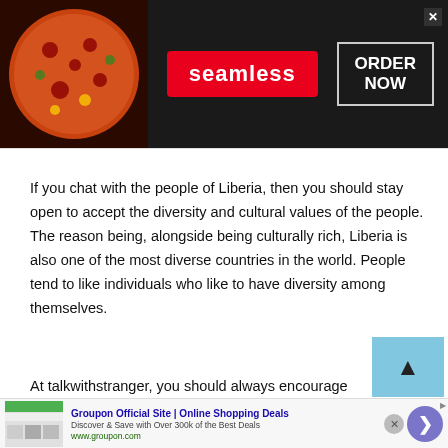[Figure (screenshot): Seamless food delivery advertisement banner with pizza image on left, red Seamless logo badge in center, and ORDER NOW button with white border on dark background]
If you chat with the people of Liberia, then you should stay open to accept the diversity and cultural values of the people. The reason being, alongside being culturally rich, Liberia is also one of the most diverse countries in the world. People tend to like individuals who like to have diversity among themselves.
At talkwithstranger, you should always encourage
[Figure (screenshot): Groupon Official Site advertisement with logo, title 'Groupon Official Site | Online Shopping Deals', description 'Discover & Save with Over 300k of the Best Deals', URL www.groupon.com, with navigation arrow button]